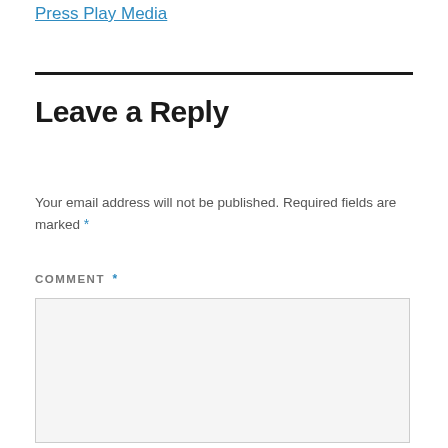Press Play Media
Leave a Reply
Your email address will not be published. Required fields are marked *
COMMENT *